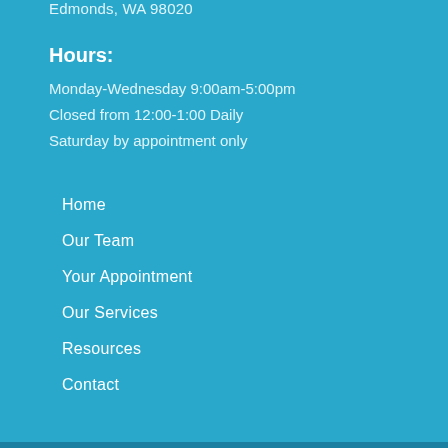Edmonds, WA 98020
Hours:
Monday-Wednesday 9:00am-5:00pm
Closed from 12:00-1:00 Daily
Saturday by appointment only
Home
Our Team
Your Appointment
Our Services
Resources
Contact